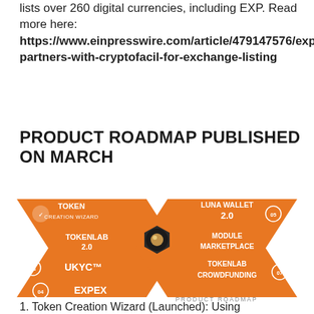lists over 260 digital currencies, including EXP. Read more here: https://www.einpresswire.com/article/479147576/expanse-partners-with-cryptofacil-for-exchange-listing
PRODUCT ROADMAP PUBLISHED ON MARCH
[Figure (infographic): Product roadmap infographic showing two hexagonal arrow shapes pointing toward a central dark hexagon with a gem. Left side: 01 TOKEN CREATION WIZARD (with checkmark), 02 TOKENLAB 2.0, 03 UKYC™, 04 EXPEX. Right side: 05 LUNA WALLET 2.0, 06 MODULE MARKETPLACE, 07 TOKENLAB CROWDFUNDING. Text at bottom: PRODUCT ROADMAP. All in orange with white text.]
1. Token Creation Wizard (Launched): Using